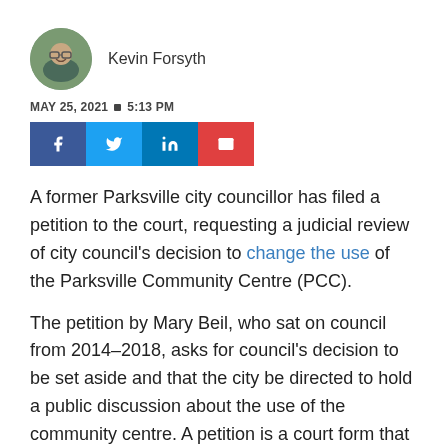[Figure (photo): Circular avatar photo of Kevin Forsyth, a man wearing glasses, smiling, outdoors]
Kevin Forsyth
MAY 25, 2021 ■ 5:13 PM
[Figure (infographic): Social share buttons: Facebook (blue), Twitter (light blue), LinkedIn (dark blue), Email (red)]
A former Parksville city councillor has filed a petition to the court, requesting a judicial review of city council's decision to change the use of the Parksville Community Centre (PCC).
The petition by Mary Beil, who sat on council from 2014–2018, asks for council's decision to be set aside and that the city be directed to hold a public discussion about the use of the community centre. A petition is a court form that starts a judicial review in the Supreme Court of British Columbia.
The petition cites B.C.'s Community Charter as its